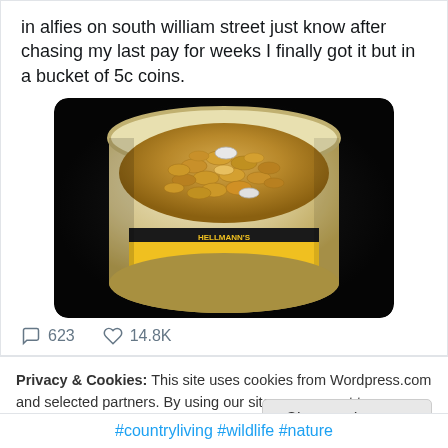in alfies on south william street just know after chasing my last pay for weeks I finally got it but in a bucket of 5c coins.
[Figure (photo): A white plastic bucket (Hellmann's brand) filled to the brim with copper/bronze 5c coins, photographed from above at an angle against a dark background.]
623  14.8K
Privacy & Cookies: This site uses cookies from Wordpress.com and selected partners. By using our site you consent to our use of cookies. To find out more, as well as how to remove or block cookies, see here: Our Privacy & Cookie Policy
Close and accept
#countryliving #wildlife #nature